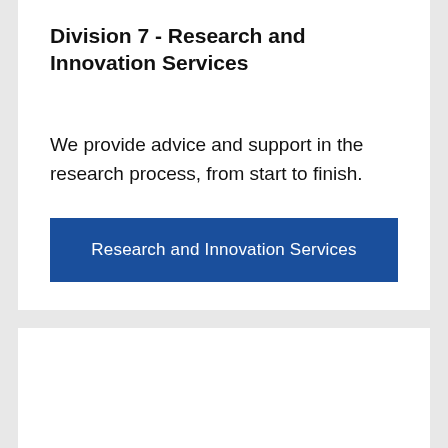Division 7 - Research and Innovation Services
We provide advice and support in the research process, from start to finish.
[Figure (screenshot): Blue button labeled 'Research and Innovation Services']